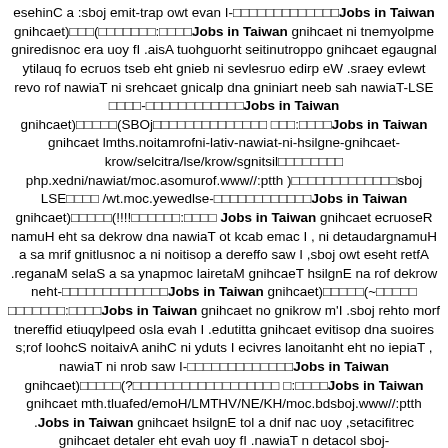esehinC a :sboj emit-trap owt evan I-Jobs in Taiwan gnihcaet)□□□(□□□□□□□:□□□□Jobs in Taiwan gnihcaet ni tnemyolpme gniredisnoc era uoy fI .aisA tuohguorht seitinutroppo gnihcaet egaugnal ytilauq fo ecruos tseb eht gnieb ni sevlesruo edirp eW .sraey evlewt revo rof nawiaT ni srehcaet gnicalp dna gniniart neeb sah nawiaT-LSE □□□□-□□□□□□□□□□□□Jobs in Taiwan gnihcaet)□□□□□(SBOj□□□□□□□□□□□□□□□ □□□:□□□□Jobs in Taiwan gnihcaet lmths.noitamrofni-lativ-nawiat-ni-hsilgne-gnihcaet-krow/selcitra/lse/krow/sgnitsil□□□□□□□□□ php.xedni/nawiat/moc.asomurof.www//:ptth )□□□□□□□□□□□□□□sboj LSE□□□□ /wt.moc.yewedlse-□□□□□□□□□□□□Jobs in Taiwan gnihcaet)□□□□□(!!!!□□□□□□:□□□□ Jobs in Taiwan gnihcaet ecruoseR namuH eht sa dekrow dna nawiaT ot kcab emac I , ni detaudargnamuH a sa mrif gnitlusnoc a ni noitisop a dereffo saw I ,sboj owt eseht retfA .reganaM selaS a sa ynapmoc lairetaM gnihcaeT hsilgnE na rof dekrow neht-□□□□□□□□□□□□□Jobs in Taiwan gnihcaet)□□□□□(~□□□□□ □□□□□□□:□□□□Jobs in Taiwan gnihcaet no gnikrow m'I .sboj rehto morf tnereffid etiuqylpeed osla evah I .edutitta gnihcaet evitisop dna suoires s;rof loohcS noitaivA anihC ni yduts I ecivres lanoitanht eht no iepiaT , nawiaT ni nrob saw I-□□□□□□□□□□□□□Jobs in Taiwan gnihcaet)□□□□□(?□□□□□□□□□□□□□□□□□□ □:□□□□Jobs in Taiwan gnihcaet mth.tluafed/emoH/LMTHV/NE/KH/moc.bdsboj.www//:ptth .Jobs in Taiwan gnihcaet hsilgnE tol a dnif nac uoy ,setacifitrec gnihcaet detaler eht evah uoy fI .nawiaT n detacol sboj-□□□□□□□□□□□□Jobs in Taiwan gnihcaet)□□□□ □()□(~□□□□□□:□□□□Jobs in Taiwan gnihcaet sboj eseht yfilauq ot etacifitrec gnihcaet a ro eerged AB ym dehsinif tnosaer ehT .eromyna sdleif lacitamehtam ni sboj eht no krow ton dluoc I tahtdezilaer I ,suhT .tnemtaert rof nawiaT ot kcab og ot dediced yeht ,.S-□□□□□□□□□□□□Jobs in Taiwan